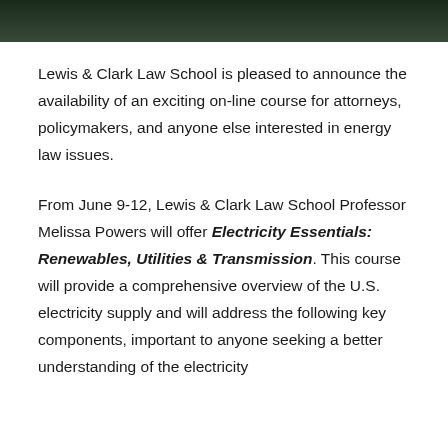[Figure (photo): Dark landscape or architectural photo strip at the top of the page]
Lewis & Clark Law School is pleased to announce the availability of an exciting on-line course for attorneys, policymakers, and anyone else interested in energy law issues.
From June 9-12, Lewis & Clark Law School Professor Melissa Powers will offer Electricity Essentials: Renewables, Utilities & Transmission. This course will provide a comprehensive overview of the U.S. electricity supply and will address the following key components, important to anyone seeking a better understanding of the electricity